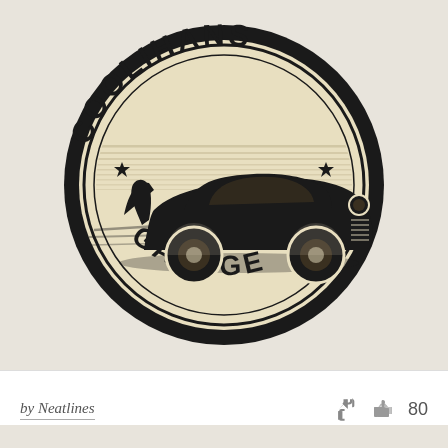[Figure (logo): Coolihans Garage logo: circular badge with cream/beige background, bold black text 'COOLIHANS' arched along the top and 'GARAGE' arched along the bottom, two stars flanking the top text, and a vintage 1950s black classic car (muscle car silhouette) overlapping the circular badge in the center, with speed lines radiating behind the car.]
by Neatlines
80